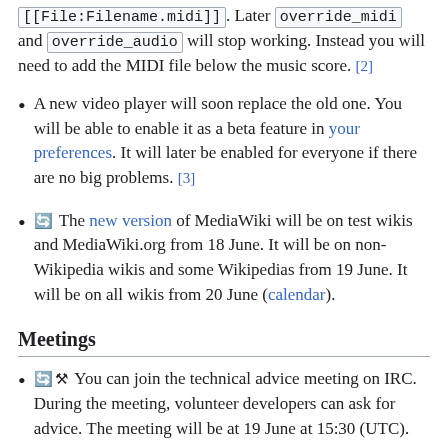[[File:Filename.midi]]. Later override_midi and override_audio will stop working. Instead you will need to add the MIDI file below the music score. [2]
A new video player will soon replace the old one. You will be able to enable it as a beta feature in your preferences. It will later be enabled for everyone if there are no big problems. [3]
🔄 The new version of MediaWiki will be on test wikis and MediaWiki.org from 18 June. It will be on non-Wikipedia wikis and some Wikipedias from 19 June. It will be on all wikis from 20 June (calendar).
Meetings
🔄🔧 You can join the technical advice meeting on IRC. During the meeting, volunteer developers can ask for advice. The meeting will be at 19 June at 15:30 (UTC).